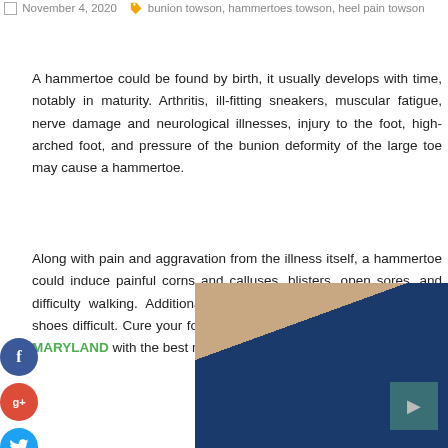November 4, 2020  bunion towson, hammertoes towson, heel pain towson
A hammertoe could be found by birth, it usually develops with time, notably in maturity. Arthritis, ill-fitting sneakers, muscular fatigue, nerve damage and neurological illnesses, injury to the foot, high-arched foot, and pressure of the bunion deformity of the large toe may cause a hammertoe.
Along with pain and aggravation from the illness itself, a hammertoe could induce painful corns and calluses, blisters, open sores, and difficulty walking. Additionally, it may make wearing and finding shoes difficult. Cure your foot problem from FAMILY PODIATRY OF MARYLAND with the best methods.
[Figure (photo): Partial photo of a foot/leg, showing skin tones and blue fabric/denim background in the lower right of the page.]